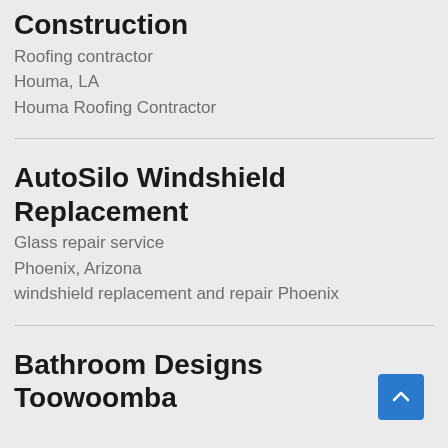Construction
Roofing contractor
Houma, LA
Houma Roofing Contractor
AutoSilo Windshield Replacement
Glass repair service
Phoenix, Arizona
windshield replacement and repair Phoenix
Bathroom Designs Toowoomba